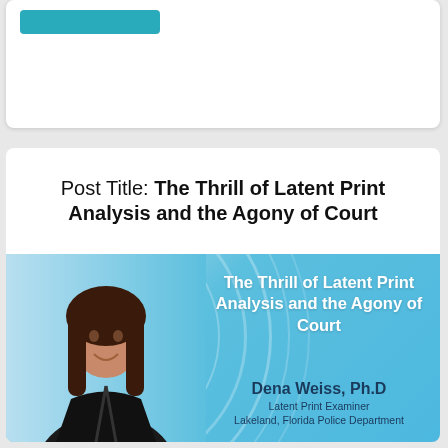[Figure (screenshot): Teal/turquoise button at top of a card UI element]
Post Title: The Thrill of Latent Print Analysis and the Agony of Court
[Figure (illustration): Banner image with a woman (Dena Weiss, Ph.D, Latent Print Examiner, Lakeland, Florida Police Department) on the left against a blue background with fingerprint swirl design, and white bold text on the right reading 'The Thrill of Latent Print Analysis and the Agony of Court'. Bottom right shows her name and title in dark blue.]